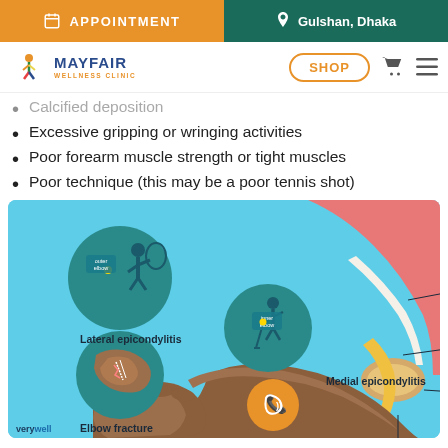APPOINTMENT | Gulshan, Dhaka
[Figure (logo): Mayfair Wellness Clinic logo with colorful figure and SHOP button]
Calcified deposition
Excessive gripping or wringing activities
Poor forearm muscle strength or tight muscles
Poor technique (this may be a poor tennis shot)
[Figure (illustration): Medical illustration of elbow conditions including Lateral epicondylitis, Medial epicondylitis, Elbow fracture, Tricep tendonitis, Bicep tendonitis, Olecranon bursitis, and Cubital tunnel syndrome. Shows anatomy of the elbow and forearm with labeled conditions. Source: verywell]